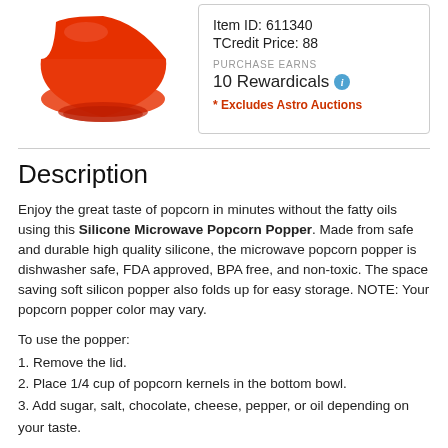[Figure (photo): Red silicone microwave popcorn popper product image]
Item ID: 611340
TCredit Price: 88
PURCHASE EARNS
10 Rewardicals
* Excludes Astro Auctions
Description
Enjoy the great taste of popcorn in minutes without the fatty oils using this Silicone Microwave Popcorn Popper. Made from safe and durable high quality silicone, the microwave popcorn popper is dishwasher safe, FDA approved, BPA free, and non-toxic. The space saving soft silicon popper also folds up for easy storage. NOTE: Your popcorn popper color may vary.
To use the popper:
1. Remove the lid.
2. Place 1/4 cup of popcorn kernels in the bottom bowl.
3. Add sugar, salt, chocolate, cheese, pepper, or oil depending on your taste.